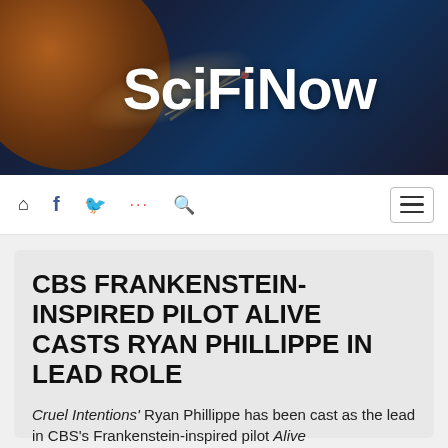[Figure (illustration): SciFiNow website header banner with dark space background featuring a planet and spacecraft, with large white SciFiNow logo text]
SciFiNow
CBS FRANKENSTEIN-INSPIRED PILOT ALIVE CASTS RYAN PHILLIPPE IN LEAD ROLE
Cruel Intentions' Ryan Phillippe has been cast as the lead in CBS's Frankenstein-inspired pilot Alive
By Poppy-Jay Palmer  20-03-19  39,397